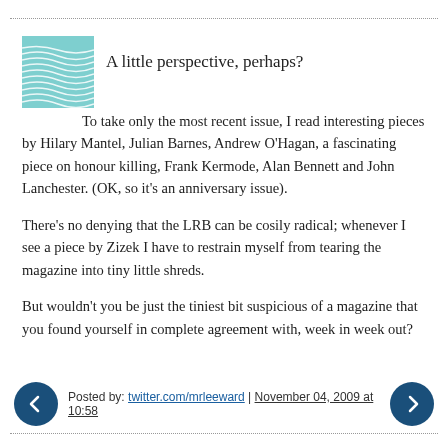[Figure (illustration): Teal/blue wavy lines avatar image]
A little perspective, perhaps?
To take only the most recent issue, I read interesting pieces by Hilary Mantel, Julian Barnes, Andrew O'Hagan, a fascinating piece on honour killing, Frank Kermode, Alan Bennett and John Lanchester. (OK, so it's an anniversary issue).
There's no denying that the LRB can be cosily radical; whenever I see a piece by Zizek I have to restrain myself from tearing the magazine into tiny little shreds.
But wouldn't you be just the tiniest bit suspicious of a magazine that you found yourself in complete agreement with, week in week out?
Posted by: twitter.com/mrleeward | November 04, 2009 at 10:58